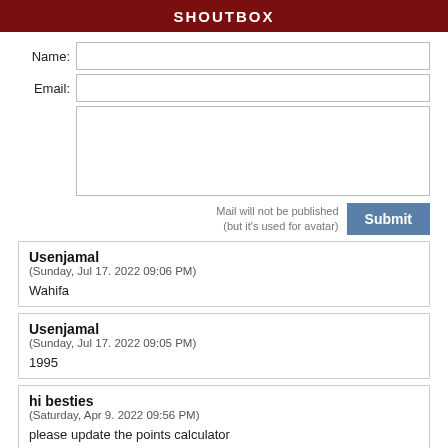SHOUTBOX
Name:
Email:
Mail will not be published (but it's used for avatar)
Submit
Usenjamal
(Sunday, Jul 17. 2022 09:06 PM)

Wahifa
Usenjamal
(Sunday, Jul 17. 2022 09:05 PM)

1995
hi besties
(Saturday, Apr 9. 2022 09:56 PM)

please update the points calculator
Tony Gardner
(Thursday, Mar 24. 2022 10:28 AM)